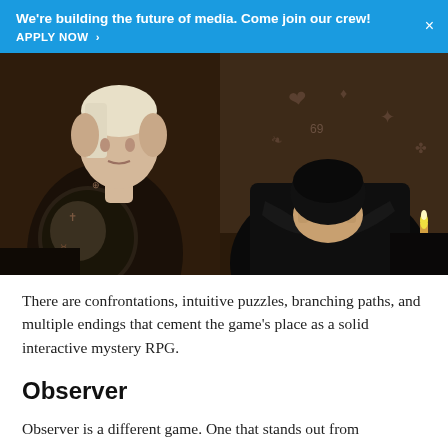We're building the future of media. Come join our crew! APPLY NOW >
[Figure (photo): Two video game characters in a dark, moody setting. On the left, a pale female character with slicked-back blonde hair and tattoos in a reflective outfit. On the right, a dark-haired male character in a black jacket with his face buried in his hands.]
There are confrontations, intuitive puzzles, branching paths, and multiple endings that cement the game's place as a solid interactive mystery RPG.
Observer
Observer is a different game. One that stands out from